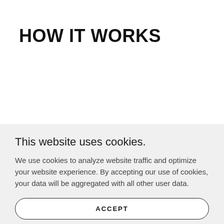HOW IT WORKS
This website uses cookies.
We use cookies to analyze website traffic and optimize your website experience. By accepting our use of cookies, your data will be aggregated with all other user data.
ACCEPT